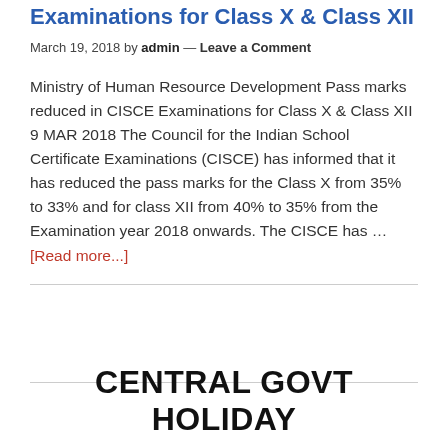Examinations for Class X & Class XII
March 19, 2018 by admin — Leave a Comment
Ministry of Human Resource Development Pass marks reduced in CISCE Examinations for Class X & Class XII 9 MAR 2018 The Council for the Indian School Certificate Examinations (CISCE) has informed that it has reduced the pass marks for the Class X from 35% to 33% and for class XII from 40% to 35% from the Examination year 2018 onwards. The CISCE has … [Read more...]
CENTRAL GOVT HOLIDAY